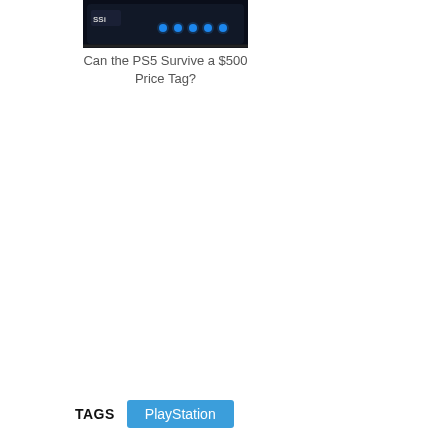[Figure (photo): Close-up photo of a dark gaming device (appears to be a PS5-related accessory or SSD) with blue LED buttons/indicators on a dark background]
Can the PS5 Survive a $500 Price Tag?
TAGS   PlayStation